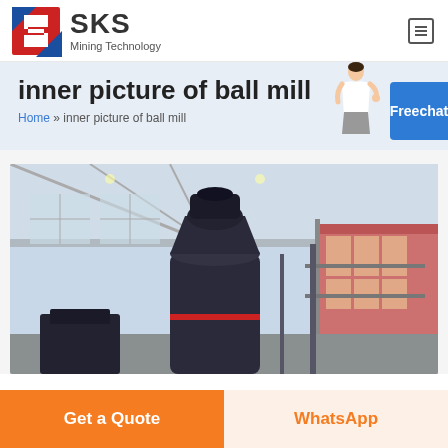[Figure (logo): SKS Mining Technology logo with red and blue geometric S-shaped icon and company name text]
inner picture of ball mill
Home » inner picture of ball mill
[Figure (photo): Industrial ball mill machine inside a large factory warehouse with metal roof structure, photographed from below looking up]
Get a Quote
WhatsApp